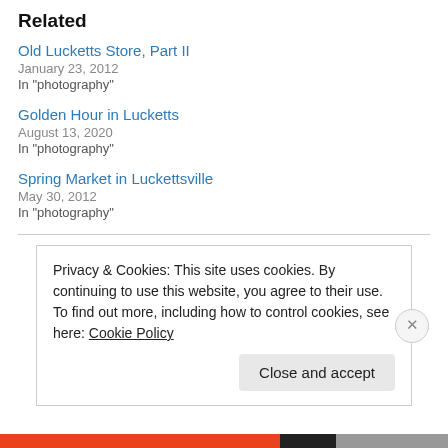Related
Old Lucketts Store, Part II
January 23, 2012
In "photography"
Golden Hour in Lucketts
August 13, 2020
In "photography"
Spring Market in Luckettsville
May 30, 2012
In "photography"
Privacy & Cookies: This site uses cookies. By continuing to use this website, you agree to their use.
To find out more, including how to control cookies, see here: Cookie Policy
Close and accept